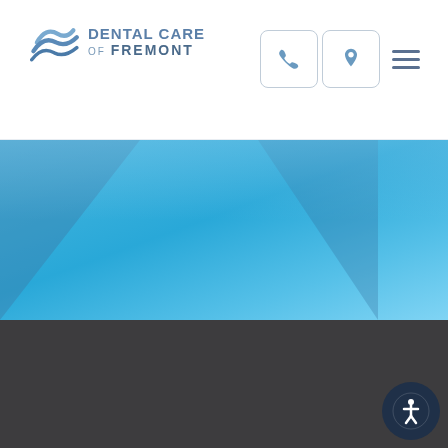Dental Care of Fremont
[Figure (screenshot): Website header with Dental Care of Fremont logo, phone icon button, location pin icon button, and hamburger menu icon on white background, followed by a blue gradient hero section with diagonal geometric shapes, and a dark gray content area below]